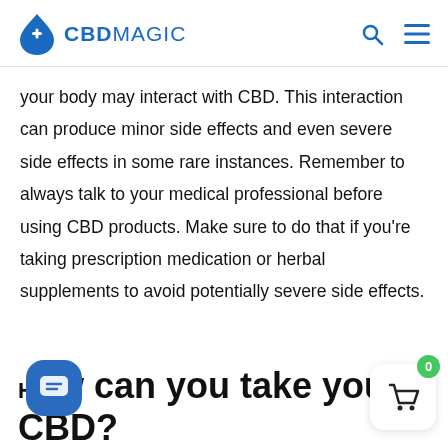CBD MAGIC
your body may interact with CBD. This interaction can produce minor side effects and even severe side effects in some rare instances. Remember to always talk to your medical professional before using CBD products. Make sure to do that if you’re taking prescription medication or herbal supplements to avoid potentially severe side effects.
How can you take your CBD?